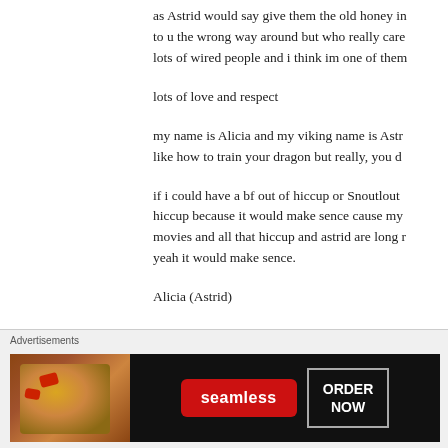as Astrid would say give them the old honey in to u the wrong way around but who really care lots of wired people and i think im one of them
lots of love and respect
my name is Alicia and my viking name is Astr like how to train your dragon but really, you d
if i could have a bf out of hiccup or Snoutlout hiccup because it would make sence cause my movies and all that hiccup and astrid are long yeah it would make sence.
Alicia (Astrid)
[Figure (other): Close/dismiss button (X circle icon) in bottom right of content area]
Advertisements
[Figure (other): Seamless food delivery advertisement banner with pizza image, Seamless logo and ORDER NOW button]